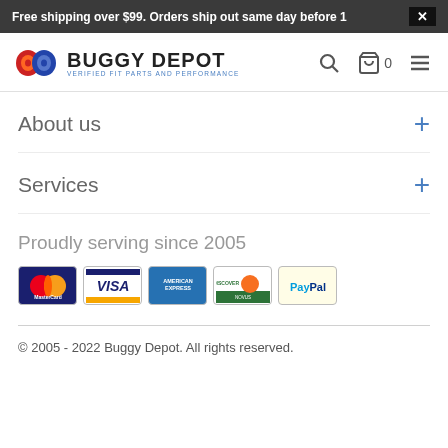Free shipping over $99. Orders ship out same day before 1
[Figure (logo): Buggy Depot logo with red/blue gear icon and text 'BUGGY DEPOT VERIFIED FIT PARTS AND PERFORMANCE']
About us
Services
Proudly serving since 2005
[Figure (other): Payment method icons: MasterCard, Visa, American Express, Discover, PayPal]
© 2005 - 2022 Buggy Depot. All rights reserved.